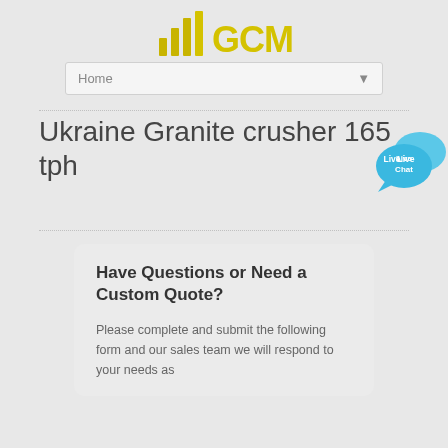[Figure (logo): GCM logo with bar chart icon in yellow/gold and text 'GCM' in bold yellow]
Home
Ukraine Granite crusher 165 tph
[Figure (illustration): Live Chat speech bubble button in blue]
Have Questions or Need a Custom Quote?
Please complete and submit the following form and our sales team we will respond to your needs as